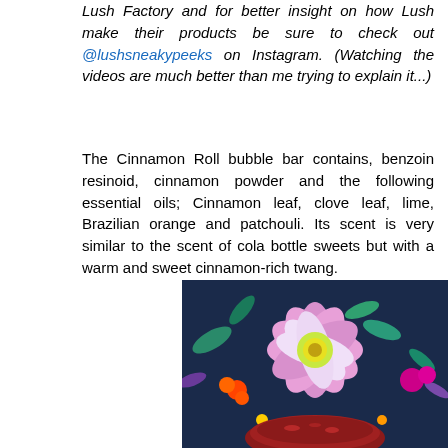Lush Factory and for better insight on how Lush make their products be sure to check out @lushsneakypeeks on Instagram. (Watching the videos are much better than me trying to explain it...)
The Cinnamon Roll bubble bar contains, benzoin resinoid, cinnamon powder and the following essential oils; Cinnamon leaf, clove leaf, lime, Brazilian orange and patchouli. Its scent is very similar to the scent of cola bottle sweets but with a warm and sweet cinnamon-rich twang.
[Figure (photo): Colorful floral fabric background with bright pink, orange, teal flowers and a dark red/maroon cinnamon roll bubble bar visible at the bottom of the image.]